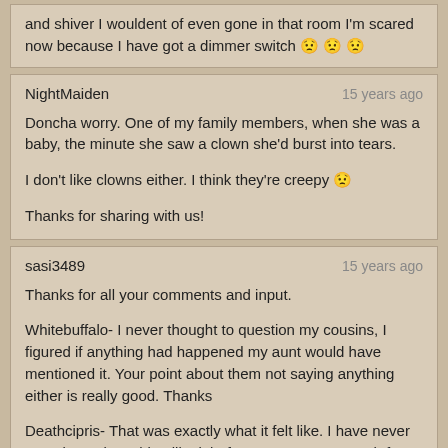and shiver I wouldent of even gone in that room I'm scared now because I have got a dimmer switch 😟 😟 😟
NightMaiden · 15 years ago

Doncha worry. One of my family members, when she was a baby, the minute she saw a clown she'd burst into tears.

I don't like clowns either. I think they're creepy 😟

Thanks for sharing with us!
sasi3489 · 15 years ago

Thanks for all your comments and input.

Whitebuffalo- I never thought to question my cousins, I figured if anything had happened my aunt would have mentioned it. Your point about them not saying anything either is really good. Thanks

Deathcipris- That was exactly what it felt like. I have never experienced anything like it before. Once was enough for me, I